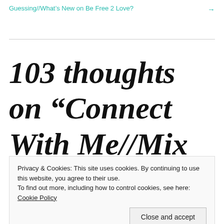Guessing//What's New on Be Free 2 Love? →
103 thoughts on “Connect With Me//Mix and Mingle”
Privacy & Cookies: This site uses cookies. By continuing to use this website, you agree to their use. To find out more, including how to control cookies, see here: Cookie Policy
Close and accept